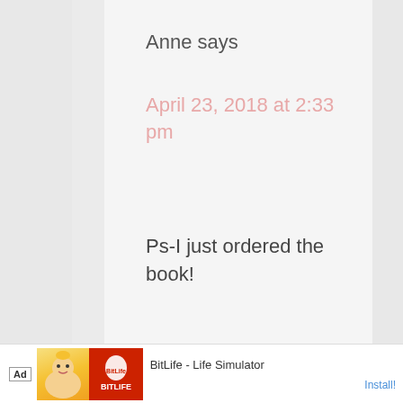Anne says
April 23, 2018 at 2:33 pm
Ps-I just ordered the book!
[Figure (illustration): Blue circular accessibility icon with a person figure in white]
[Figure (screenshot): Ad banner for BitLife - Life Simulator app with Install button]